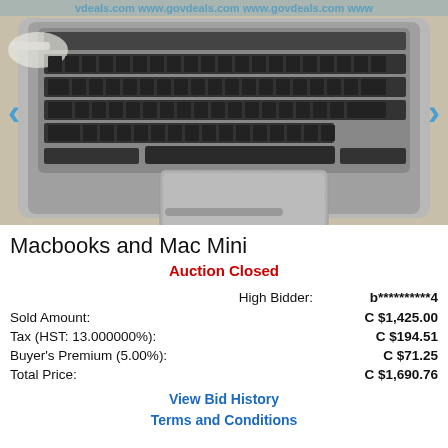[Figure (photo): Photo of a MacBook laptop (silver aluminum) viewed from above showing keyboard and trackpad, with a white MagSafe charger visible at upper left. Watermark 'www.govdeals.com' visible across the top. Navigation arrows on left and right sides.]
Macbooks and Mac Mini
Auction Closed
|  | High Bidder: | b**********4 |
| Sold Amount: |  | C $1,425.00 |
| Tax (HST: 13.000000%): |  | C $194.51 |
| Buyer's Premium (5.00%): |  | C $71.25 |
| Total Price: |  | C $1,690.76 |
View Bid History
Terms and Conditions